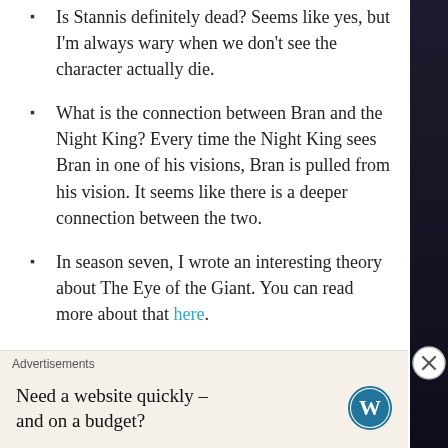Is Stannis definitely dead? Seems like yes, but I'm always wary when we don't see the character actually die.
What is the connection between Bran and the Night King? Every time the Night King sees Bran in one of his visions, Bran is pulled from his vision. It seems like there is a deeper connection between the two.
In season seven, I wrote an interesting theory about The Eye of the Giant. You can read more about that here.
More recently, I wrote a theory on the significance of what's beneath the crypts of Winterfell. The teaser for the upcoming season focused on the crypts of Winterfell, so I think it will have significance on the
Advertisements
Need a website quickly – and on a budget?